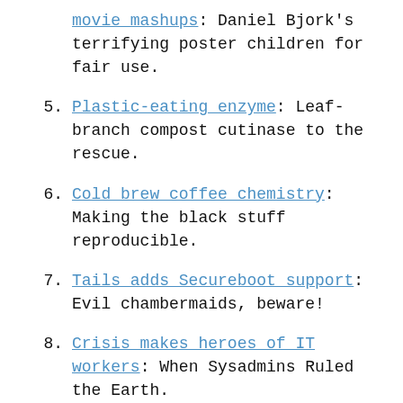movie mashups: Daniel Bjork's terrifying poster children for fair use.
5. Plastic-eating enzyme: Leaf-branch compost cutinase to the rescue.
6. Cold brew coffee chemistry: Making the black stuff reproducible.
7. Tails adds Secureboot support: Evil chambermaids, beware!
8. Crisis makes heroes of IT workers: When Sysadmins Ruled the Earth.
9. Automating fake PDF signatures: Make it look like you printed, signed and scanned.
10. Pocket Art Director: Your high-